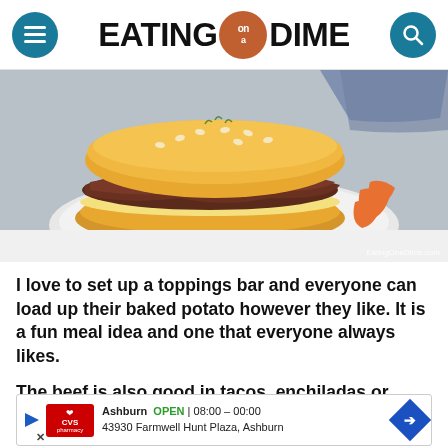EATING on a DIME
[Figure (photo): A large beef sandwich with shredded meat on a sesame seed bun, served on a white plate with carrots, on a white wooden surface. Watermark reads: EatingOnaDime.com]
I love to set up a toppings bar and everyone can load up their baked potato however they like. It is a fun meal idea and one that everyone always likes.
The beef is also good in tacos, enchiladas or quesadillas. Using leftover pot roast is also amazing
[Figure (other): Advertisement banner: CVS Pharmacy, Ashburn OPEN 08:00 – 00:00, 43930 Farmwell Hunt Plaza, Ashburn]